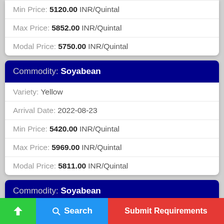Min Price: 5120.00 INR/Quintal
Max Price: 5852.00 INR/Quintal
Modal Price: 5750.00 INR/Quintal
Commodity: Soyabean
Variety: Yellow
Arrival Date: 2022-08-23
Min Price: 5420.00 INR/Quintal
Max Price: 5969.00 INR/Quintal
Modal Price: 5811.00 INR/Quintal
Commodity: Soyabean
Variety: Yellow
Arrival Date: (partially visible)